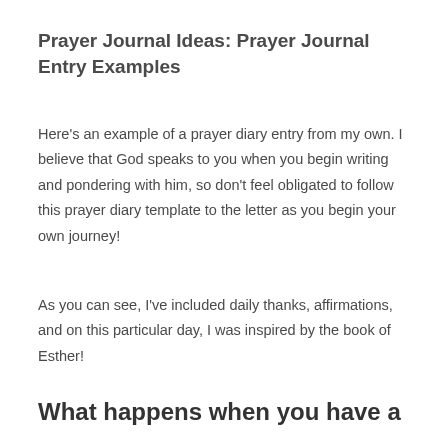Prayer Journal Ideas: Prayer Journal Entry Examples
Here's an example of a prayer diary entry from my own. I believe that God speaks to you when you begin writing and pondering with him, so don't feel obligated to follow this prayer diary template to the letter as you begin your own journey!
As you can see, I've included daily thanks, affirmations, and on this particular day, I was inspired by the book of Esther!
What happens when you have a